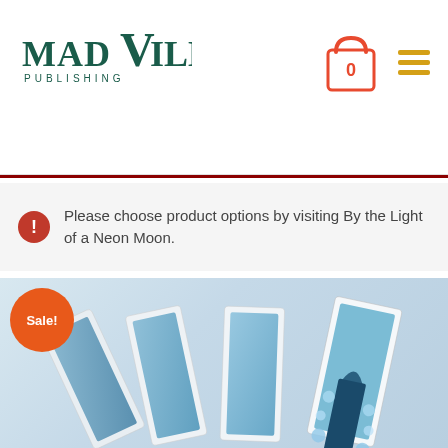[Figure (logo): MadVille Publishing logo in dark teal/green with stylized V]
[Figure (illustration): Shopping cart icon in orange with number 0 inside]
[Figure (illustration): Hamburger menu icon in yellow/gold with three horizontal lines]
Please choose product options by visiting By the Light of a Neon Moon.
[Figure (photo): Fan of greeting cards or prints showing blue watercolor artwork of a doorway with floral decorations, with an orange Sale! badge in the top-left corner]